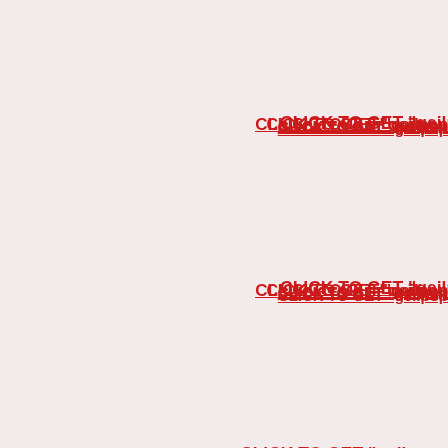CLICK TO GET "geilpop...
CLICK TO GET "geilpop...
CLICK TO GET "geilp...
CLICK TO GET "geilpoppen – B...
CLICK TO GET "geilpopp...
CLICK TO GET "geilpoppen...